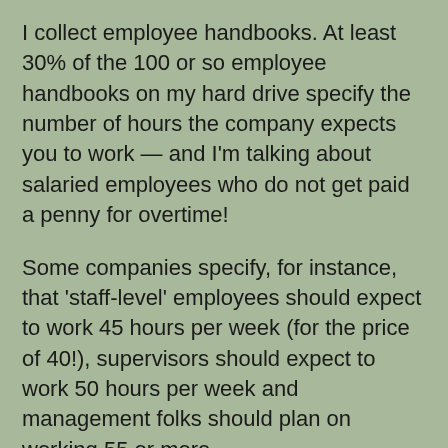I collect employee handbooks. At least 30% of the 100 or so employee handbooks on my hard drive specify the number of hours the company expects you to work — and I'm talking about salaried employees who do not get paid a penny for overtime!
Some companies specify, for instance, that 'staff-level' employees should expect to work 45 hours per week (for the price of 40!), supervisors should expect to work 50 hours per week and management folks should plan on working 55 or more.
Smart companies know that what's important is